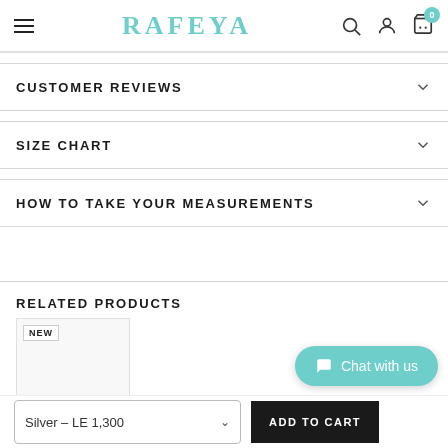RAFEYA
CUSTOMER REVIEWS
SIZE CHART
HOW TO TAKE YOUR MEASUREMENTS
RELATED PRODUCTS
NEW
Chat with us
Silver – LE 1,300
ADD TO CART